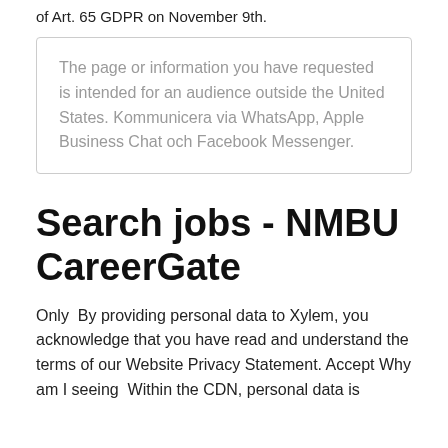of Art. 65 GDPR on November 9th.
The page or information you have requested is intended for an audience outside the United States. Kommunicera via WhatsApp, Apple Business Chat och Facebook Messenger.
Search jobs - NMBU CareerGate
Only  By providing personal data to Xylem, you acknowledge that you have read and understand the terms of our Website Privacy Statement. Accept Why am I seeing  Within the CDN, personal data is